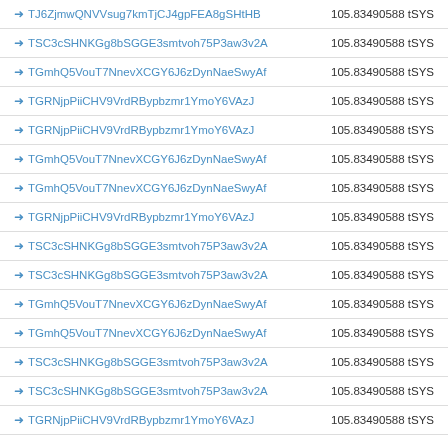| ➜ TJ6ZjmwQNVVsug7kmTjCJ4gpFEA8gSHtHB | 105.83490588 tSYS |
| ➜ TSC3cSHNKGg8bSGGE3smtvoh75P3aw3v2A | 105.83490588 tSYS |
| ➜ TGmhQ5VouT7NnevXCGY6J6zDynNaeSwyAf | 105.83490588 tSYS |
| ➜ TGRNjpPiiCHV9VrdRBypbzmr1YmoY6VAzJ | 105.83490588 tSYS |
| ➜ TGRNjpPiiCHV9VrdRBypbzmr1YmoY6VAzJ | 105.83490588 tSYS |
| ➜ TGmhQ5VouT7NnevXCGY6J6zDynNaeSwyAf | 105.83490588 tSYS |
| ➜ TGmhQ5VouT7NnevXCGY6J6zDynNaeSwyAf | 105.83490588 tSYS |
| ➜ TGRNjpPiiCHV9VrdRBypbzmr1YmoY6VAzJ | 105.83490588 tSYS |
| ➜ TSC3cSHNKGg8bSGGE3smtvoh75P3aw3v2A | 105.83490588 tSYS |
| ➜ TSC3cSHNKGg8bSGGE3smtvoh75P3aw3v2A | 105.83490588 tSYS |
| ➜ TGmhQ5VouT7NnevXCGY6J6zDynNaeSwyAf | 105.83490588 tSYS |
| ➜ TGmhQ5VouT7NnevXCGY6J6zDynNaeSwyAf | 105.83490588 tSYS |
| ➜ TSC3cSHNKGg8bSGGE3smtvoh75P3aw3v2A | 105.83490588 tSYS |
| ➜ TSC3cSHNKGg8bSGGE3smtvoh75P3aw3v2A | 105.83490588 tSYS |
| ➜ TGRNjpPiiCHV9VrdRBypbzmr1YmoY6VAzJ | 105.83490588 tSYS |